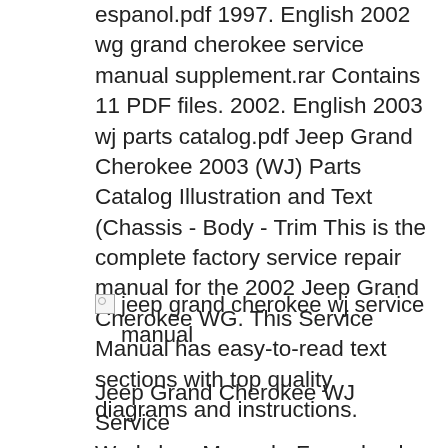espanol.pdf 1997. English 2002 wg grand cherokee service manual supplement.rar Contains 11 PDF files. 2002. English 2003 wj parts catalog.pdf Jeep Grand Cherokee 2003 (WJ) Parts Catalog Illustration and Text (Chassis - Body - Trim This is the complete factory service repair manual for the 2002 Jeep Grand Cherokee WG. This Service Manual has easy-to-read text sections with top quality diagrams and instructions.
[Figure (photo): Broken image placeholder with alt text: jeep grand cherokee wj service manual]
Jeep Grand Cherokee WJ Service Workshop Manual - Free ebook